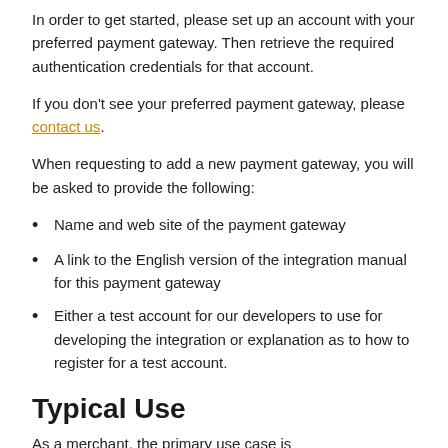In order to get started, please set up an account with your preferred payment gateway. Then retrieve the required authentication credentials for that account.
If you don't see your preferred payment gateway, please contact us.
When requesting to add a new payment gateway, you will be asked to provide the following:
Name and web site of the payment gateway
A link to the English version of the integration manual for this payment gateway
Either a test account for our developers to use for developing the integration or explanation as to how to register for a test account.
Typical Use
As a merchant, the primary use case is...